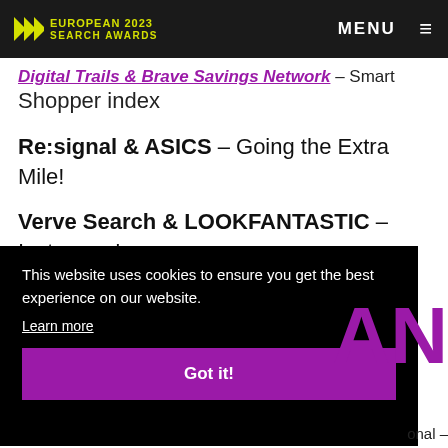European 2023 Search Awards — MENU
Digital Trails & Brave Savings Network – Smart Shopper index
Re:signal & ASICS – Going the Extra Mile!
Verve Search & LOOKFANTASTIC – Instagram's Emotions
[Figure (screenshot): Cookie consent banner overlay on black background with text 'This website uses cookies to ensure you get the best experience on our website.' and a 'Learn more' link and a purple 'Got it!' button. Partial large purple 'AN' text visible on right side. Partial text 'ional –' visible at bottom right.]